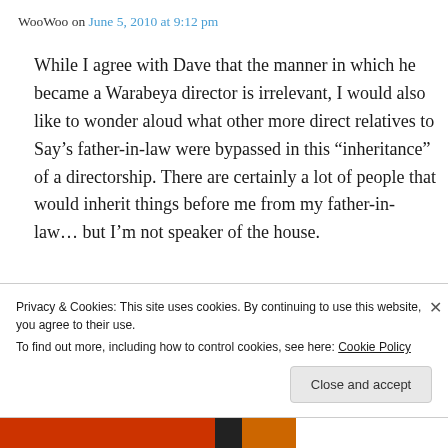WooWoo on June 5, 2010 at 9:12 pm
While I agree with Dave that the manner in which he became a Warabeya director is irrelevant, I would also like to wonder aloud what other more direct relatives to Say’s father-in-law were bypassed in this “inheritance” of a directorship. There are certainly a lot of people that would inherit things before me from my father-in-law… but I’m not speaker of the house.
Privacy & Cookies: This site uses cookies. By continuing to use this website, you agree to their use.
To find out more, including how to control cookies, see here: Cookie Policy